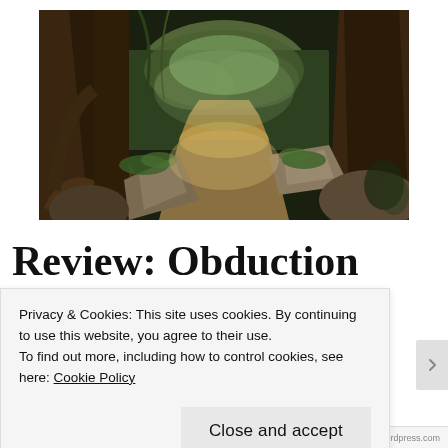[Figure (screenshot): A lush forest scene with large gnarled trees, roots, green foliage, and a sunlit dirt path leading into the distance between rocks and boulders. Fantasy/game environment screenshot.]
Review: Obduction
Privacy & Cookies: This site uses cookies. By continuing to use this website, you agree to their use.
To find out more, including how to control cookies, see here: Cookie Policy